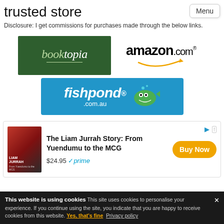trusted store
Menu
Disclosure: I get commissions for purchases made through the below links.
[Figure (logo): Booktopia logo - green background with stylized text]
[Figure (logo): Amazon.com logo with orange smile arrow]
[Figure (logo): fishpond.com.au logo - blue background with fish mascot]
[Figure (screenshot): Advertisement: The Liam Jurrah Story: From Yuendumu to the MCG - $24.95 with prime, Buy Now button]
This website is using cookies This site uses cookies to personalise your experience. If you continue using the site, you indicate that you are happy to receive cookies from this website. Yes, that's fine Privacy policy